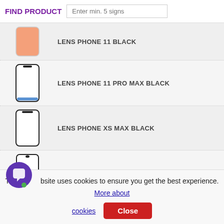FIND PRODUCT
LENS PHONE 11 BLACK
LENS PHONE 11 PRO MAX BLACK
LENS PHONE XS MAX BLACK
LENS SAMSUNG A107 GALAXY A10S
LENS SAMSUNG A202 GALAXY A20E
This website uses cookies to ensure you get the best experience. More about cookies
Close